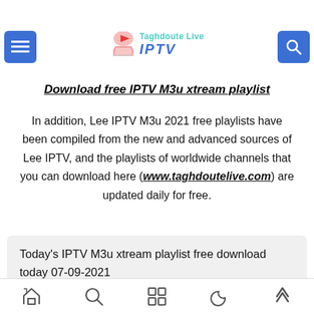M3u 2021.
[Figure (logo): Taghdoute Live IPTV logo with menu and search buttons]
Download free IPTV M3u xtream playlist
In addition, Lee IPTV M3u 2021 free playlists have been compiled from the new and advanced sources of Lee IPTV, and the playlists of worldwide channels that you can download here (www.taghdoutelive.com) are updated daily for free.
Today's IPTV M3u xtream playlist free download today 07-09-2021
Home Search Apps Moon Up navigation icons